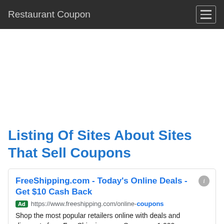Restaurant Coupon
Listing Of Sites About Sites That Sell Coupons
FreeShipping.com - Today's Online Deals - Get $10 Cash Back
Ad https://www.freeshipping.com/online-coupons
Shop the most popular retailers online with deals and discounts from FreeShipping.com. Save over 1,000...